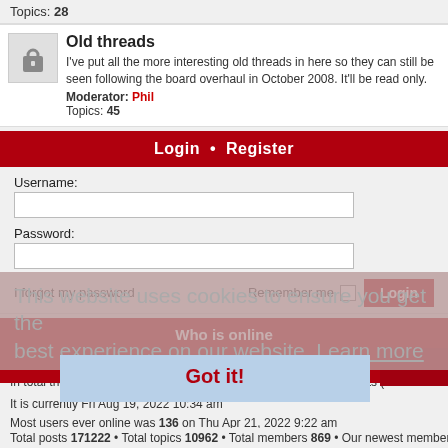Topics: 28
Old threads
I've put all the more interesting old threads in here so they can still be seen following the board overhaul in October 2008. It'll be read only.
Moderator: Phil
Topics: 45
Login • Register
Username:
Password:
I forgot my password
Remember me
Who is online
In total there are 5 users online :: 0 registered, 0 hidden and 5 guests (based on users active over the past 1 minute)
This website uses cookies to ensure you get the best experience on our website. Learn more
Statistics
Got it!
It is currently Fri Aug 19, 2022 10:34 am
Most users ever online was 136 on Thu Apr 21, 2022 9:22 am
Total posts 171222 • Total topics 10962 • Total members 869 • Our newest member